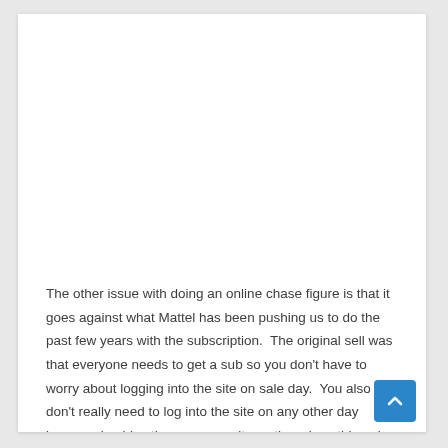The other issue with doing an online chase figure is that it goes against what Mattel has been pushing us to do the past few years with the subscription.  The original sell was that everyone needs to get a sub so you don't have to worry about logging into the site on sale day.  You also don't really need to log into the site on any other day because besides the evergreen items there is nothing els